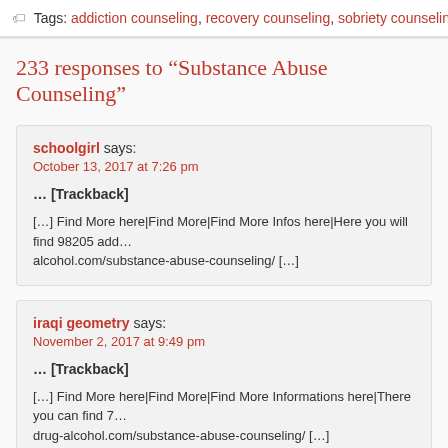Tags: addiction counseling, recovery counseling, sobriety counseling, Substanc…
233 responses to “Substance Abuse Counseling”
schoolgirl says:
October 13, 2017 at 7:26 pm

… [Trackback]

[…] Find More here|Find More|Find More Infos here|Here you will find 98205 add… alcohol.com/substance-abuse-counseling/ […]
iraqi geometry says:
November 2, 2017 at 9:49 pm

… [Trackback]

[…] Find More here|Find More|Find More Informations here|There you can find 7… drug-alcohol.com/substance-abuse-counseling/ […]